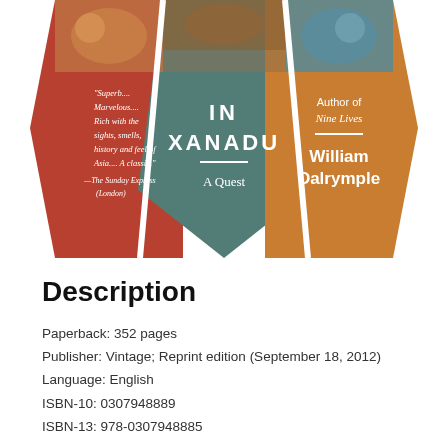[Figure (illustration): Book cover of 'In Xanadu: A Quest' by William Dalrymple. Hexagonal tile layout with three sections: left red section with a quote reading 'Superb.... Marvelous.... Rich with the sights, smells, history and feel of Asia.... A classic.' —The Sunday Express (London); center teal/green section with title 'IN XANADU — A Quest'; right orange/gold section with 'Author of Nine Lives — William Dalrymple'. Decorative medieval/Asian illustrations at top.]
Description
Paperback: 352 pages
Publisher: Vintage; Reprint edition (September 18, 2012)
Language: English
ISBN-10: 0307948889
ISBN-13: 978-0307948885